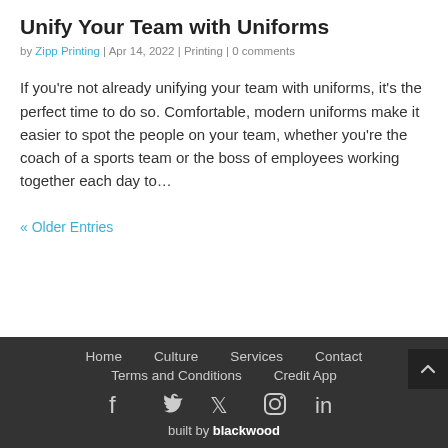Unify Your Team with Uniforms
by Zipp Printing | Apr 14, 2022 | Printing | 0 comments
If you're not already unifying your team with uniforms, it's the perfect time to do so. Comfortable, modern uniforms make it easier to spot the people on your team, whether you're the coach of a sports team or the boss of employees working together each day to…
« Older Entries
Home  Culture  Services  Contact  Terms and Conditions  Credit App  built by blackwood